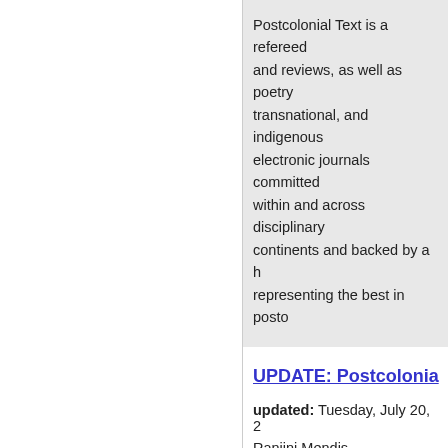Postcolonial Text is a refereed and reviews, as well as poetry transnational, and indigenous electronic journals committed within and across disciplinary continents and backed by a h representing the best in posto
UPDATE: Postcolonia
updated: Tuesday, July 20, 2
Ranjini Mendis
UPDATE: Postcolonial Text
An Invitation to Submit
Postcolonial Text Volume 1 No
http://pkp.ubc.ca/pocol/